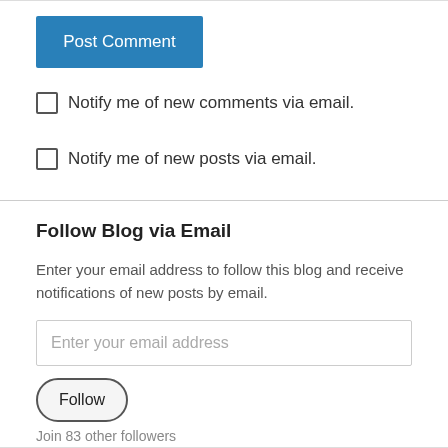[Figure (screenshot): Blue 'Post Comment' button]
Notify me of new comments via email.
Notify me of new posts via email.
Follow Blog via Email
Enter your email address to follow this blog and receive notifications of new posts by email.
[Figure (screenshot): Email address input field with placeholder text 'Enter your email address']
[Figure (screenshot): Follow button with rounded pill shape]
Join 83 other followers